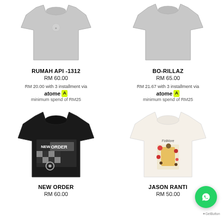[Figure (photo): Gray t-shirt with small logo, product: RUMAH API -1312]
[Figure (photo): Gray t-shirt product: BO-RILLAZ]
RUMAH API -1312
RM 60.00
RM 20.00 with 3 installment via atome minimum spend of RM25
BO-RILLAZ
RM 65.00
RM 21.67 with 3 installment via atome minimum spend of RM25
[Figure (photo): Black t-shirt with NEW ORDER graphic print]
[Figure (photo): White t-shirt with Folklore colorful graphic print, product: JASON RANTI]
NEW ORDER
RM 60.00
JASON RANTI
RM 50.00